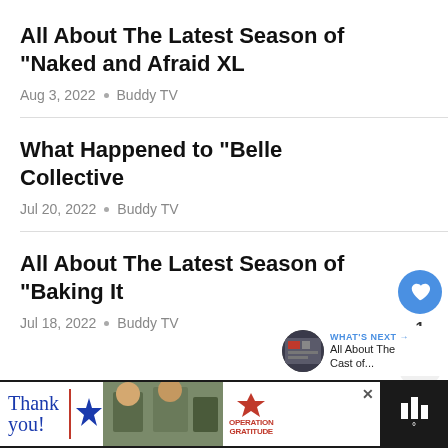All About The Latest Season of “Naked and Afraid XL
Aug 3, 2022 • Buddy TV
What Happened to “Belle Collective
Jul 20, 2022 • Buddy TV
All About The Latest Season of “Baking It
Jul 18, 2022 • Buddy TV
[Figure (screenshot): Advertisement banner at the bottom showing 'Thank you' text with American flag design and Operation Gratitude branding. A social sidebar shows a heart/like button with count 1 and a share button. A 'What's Next' panel shows a circular thumbnail and text 'All About The Cast of...']